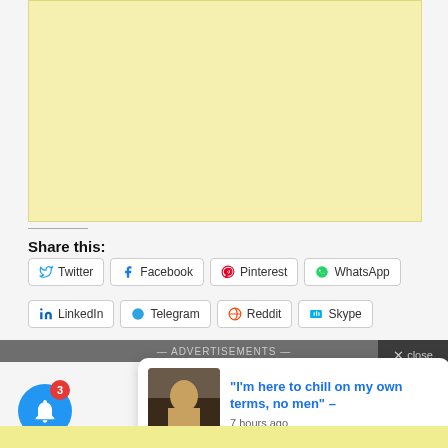[Figure (other): Yellow advertisement placeholder box]
Share this:
[Figure (other): Social share buttons: Twitter, Facebook, Pinterest, WhatsApp, LinkedIn, Telegram, Reddit, Skype]
— ADVERTISEMENTS —
[Figure (other): Notification popup with thumbnail image and text: "I'm here to chill on my own terms, no men" – 7 hours ago]
[Figure (other): Close button overlay (× close with X circle)]
[Figure (other): Blue bell notification button with red badge showing 3]